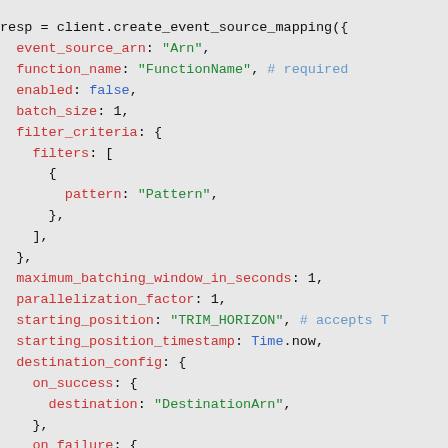resp = client.create_event_source_mapping({
  event_source_arn: "Arn",
  function_name: "FunctionName", # required
  enabled: false,
  batch_size: 1,
  filter_criteria: {
    filters: [
      {
        pattern: "Pattern",
      },
    ],
  },
  maximum_batching_window_in_seconds: 1,
  parallelization_factor: 1,
  starting_position: "TRIM_HORIZON", # accepts T
  starting_position_timestamp: Time.now,
  destination_config: {
    on_success: {
      destination: "DestinationArn",
    },
    on_failure: {
      destination: "DestinationArn",
    },
  },